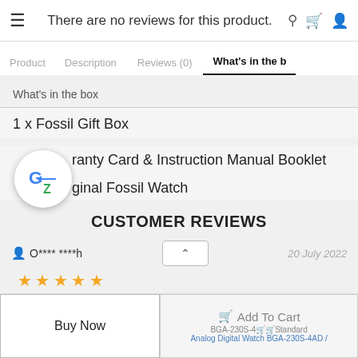There are no reviews for this product.
What's in the b (tab navigation: Product | Description | Reviews (0) | What's in the b)
What's in the box
1 x Fossil Gift Box
1x [Wa]rranty Card & Instruction Manual Booklet
1x [Ori]ginal Fossil Watch
CUSTOMER REVIEWS
O**** ****h   20 July 2022
★★★★★